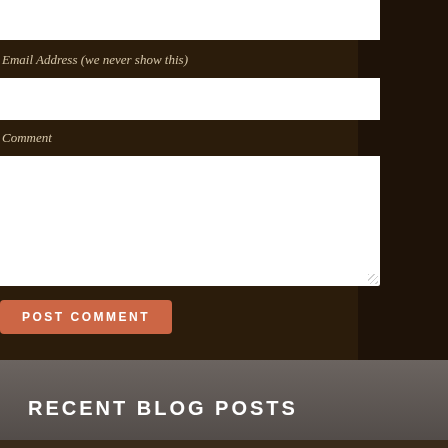Email Address (we never show this)
[Figure (other): Text input field for Email Address (white rectangle)]
Comment
[Figure (other): Textarea input field for Comment (white rectangle)]
POST COMMENT
RECENT BLOG POSTS